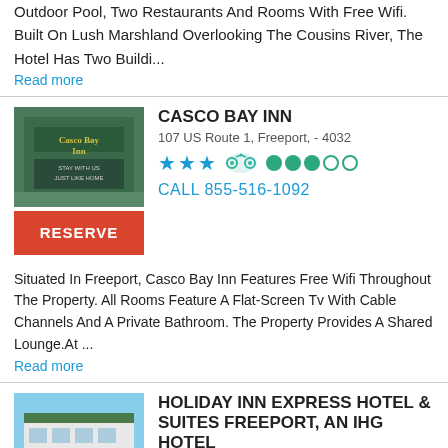Outdoor Pool, Two Restaurants And Rooms With Free Wifi. Built On Lush Marshland Overlooking The Cousins River, The Hotel Has Two Buildi...
Read more
CASCO BAY INN
107 US Route 1, Freeport, - 4032
[Figure (photo): Casco Bay Inn sign photo]
CALL 855-516-1092
Situated In Freeport, Casco Bay Inn Features Free Wifi Throughout The Property. All Rooms Feature A Flat-Screen Tv With Cable Channels And A Private Bathroom. The Property Provides A Shared Lounge.At ...
Read more
HOLIDAY INN EXPRESS HOTEL & SUITES FREEPORT, AN IHG HOTEL
450 U.S. Route 1, Freeport, ME - 4032
[Figure (photo): Holiday Inn Express Hotel exterior photo]
CALL 855-516-1092